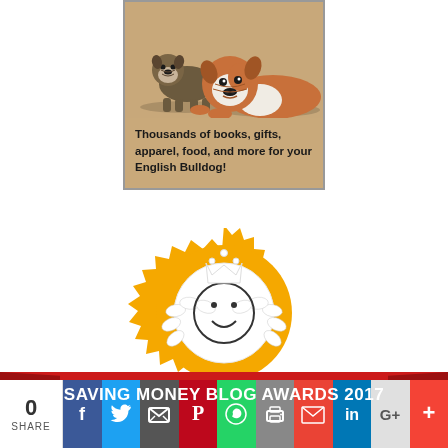[Figure (illustration): Advertisement box for English Bulldog products showing two bulldog illustrations on a tan/brown background with text 'Thousands of books, gifts, apparel, food, and more for your English Bulldog!']
[Figure (logo): Coupon.co.th award badge - gold serrated medal with a smiley face icon and laurel wreath, labeled 'Coupon.co.th' with 'SAVING MONEY BLOG AWARDS 2017' on a red ribbon banner below]
SAVING MONEY BLOG AWARDS 2017
[Figure (infographic): Social media share bar showing count of 0 SHARE and buttons for Facebook, Twitter, Email, Pinterest, WhatsApp, Print, Gmail, LinkedIn, Google+, and More]